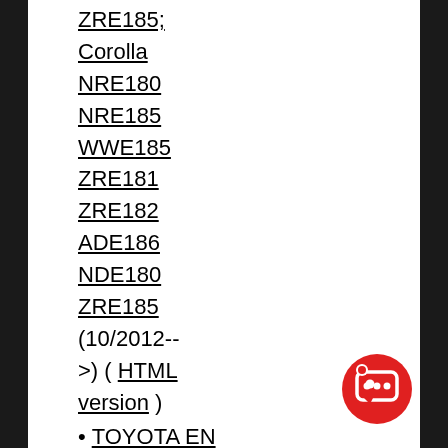ZRE185;
Corolla
NRE180
NRE185
WWE185
ZRE181
ZRE182
ADE186
NDE180
ZRE185
(10/2012-- >) ( HTML version )
TOYOTA EN
Auris
ZRE185
ADE186
NRE180